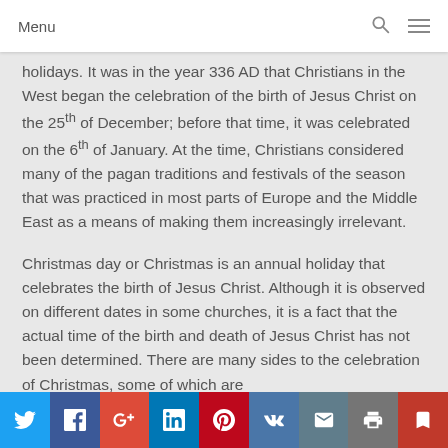Menu
holidays. It was in the year 336 AD that Christians in the West began the celebration of the birth of Jesus Christ on the 25th of December; before that time, it was celebrated on the 6th of January. At the time, Christians considered many of the pagan traditions and festivals of the season that was practiced in most parts of Europe and the Middle East as a means of making them increasingly irrelevant.
Christmas day or Christmas is an annual holiday that celebrates the birth of Jesus Christ. Although it is observed on different dates in some churches, it is a fact that the actual time of the birth and death of Jesus Christ has not been determined. There are many sides to the celebration of Christmas, some of which are